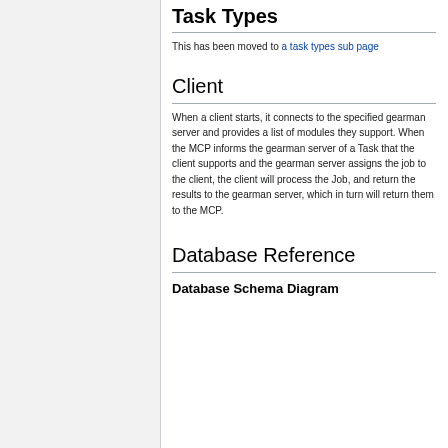Task Types
This has been moved to a task types sub page
Client
When a client starts, it connects to the specified gearman server and provides a list of modules they support. When the MCP informs the gearman server of a Task that the client supports and the gearman server assigns the job to the client, the client will process the Job, and return the results to the gearman server, which in turn will return them to the MCP.
Database Reference
Database Schema Diagram